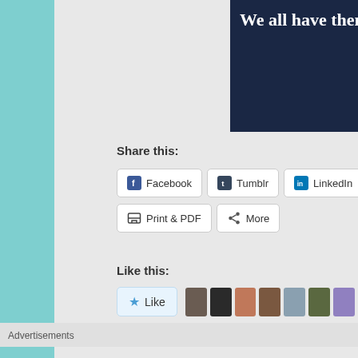[Figure (screenshot): Dark navy banner with bold white serif text 'We all have them' and a pink 'Start a survey' button]
Share this:
Facebook
Tumblr
LinkedIn
Twitter
Pinterest (partially visible)
Print & PDF
More
Like this:
[Figure (screenshot): Like button with star icon and row of user avatar thumbnails]
Advertisements